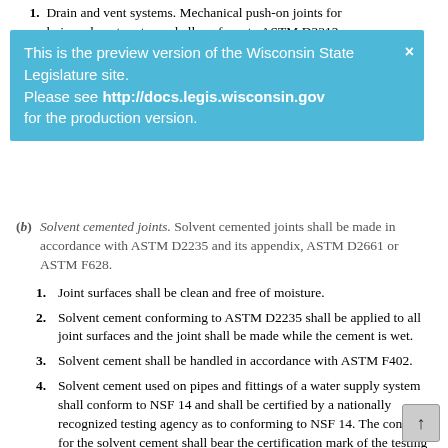1. Drain and vent systems. Mechanical push-on joints for drain and vent systems shall conform to ASTM D2312...
This is the preview version of the Wisconsin State Legislature site. Please see http://docs.legis.wisconsin.gov for the production version.
(b) Solvent cemented joints. Solvent cemented joints shall be made in accordance with ASTM D2235 and its appendix, ASTM D2661 or ASTM F628.
1. Joint surfaces shall be clean and free of moisture.
2. Solvent cement conforming to ASTM D2235 shall be applied to all joint surfaces and the joint shall be made while the cement is wet.
3. Solvent cement shall be handled in accordance with ASTM F402.
4. Solvent cement used on pipes and fittings of a water supply system shall conform to NSF 14 and shall be certified by a nationally recognized testing agency as to conforming to NSF 14. The container for the solvent cement shall bear the certification mark of the testing agency.
(c) Threaded joints. Threaded joints shall only be used on pipes of schedule 80 or heavier. Threaded joints shall conform to ASME B1.20.1. The pipe shall be threaded with dies specifically designed for plastic pipe. Thread lubricant or tape approved for such use shall be applied to the male